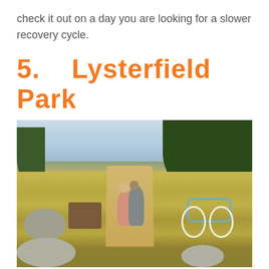check it out on a day you are looking for a slower recovery cycle.
5.   Lysterfield Park
[Figure (photo): A couple sitting on grassy hillside at Lysterfield Park with a blue bicycle nearby, trees in background, blue sky.]
Lysterfield Park. Image from visitmelbourne.com.au